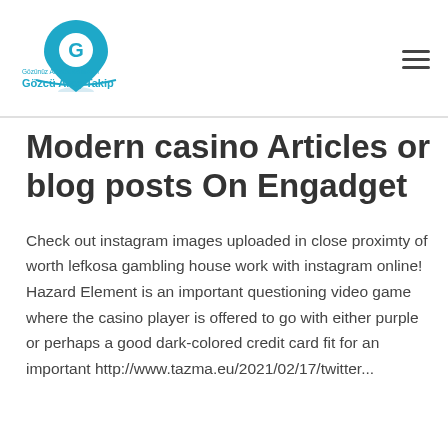[Figure (logo): Gözcü Araç Takip logo with a blue map pin containing a 'G' letter and the text 'Gözünüz Arkada Kalmasın' and 'Gözcü Araç Takip' below it]
Modern casino Articles or blog posts On Engadget
Check out instagram images uploaded in close proximty of worth lefkosa gambling house work with instagram online! Hazard Element is an important questioning video game where the casino player is offered to go with either purple or perhaps a good dark-colored credit card fit for an important http://www.tazma.eu/2021/02/17/twitter...